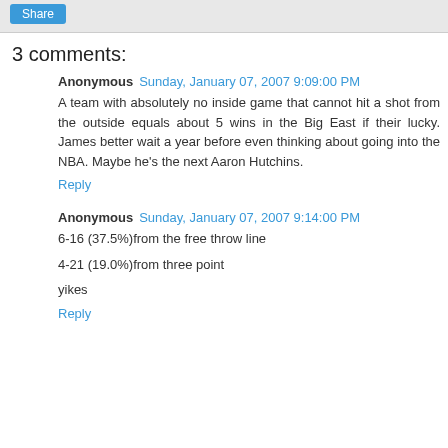3 comments:
Anonymous  Sunday, January 07, 2007 9:09:00 PM
A team with absolutely no inside game that cannot hit a shot from the outside equals about 5 wins in the Big East if their lucky. James better wait a year before even thinking about going into the NBA. Maybe he's the next Aaron Hutchins.
Reply
Anonymous  Sunday, January 07, 2007 9:14:00 PM
6-16 (37.5%)from the free throw line
4-21 (19.0%)from three point
yikes
Reply